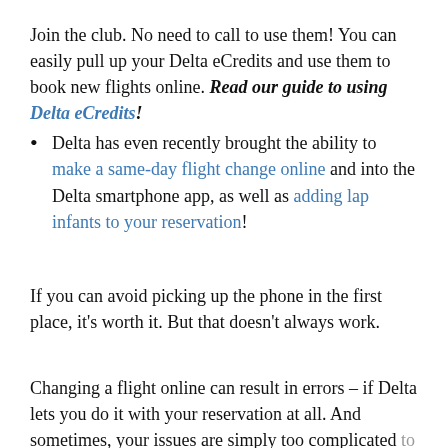Join the club. No need to call to use them! You can easily pull up your Delta eCredits and use them to book new flights online. Read our guide to using Delta eCredits!
Delta has even recently brought the ability to make a same-day flight change online and into the Delta smartphone app, as well as adding lap infants to your reservation!
If you can avoid picking up the phone in the first place, it's worth it. But that doesn't always work.
Changing a flight online can result in errors – if Delta lets you do it with your reservation at all. And sometimes, your issues are simply too complicated to handle without some assistance.